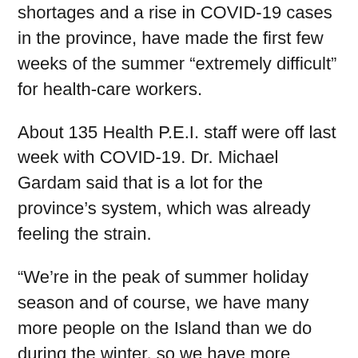shortages and a rise in COVID-19 cases in the province, have made the first few weeks of the summer “extremely difficult” for health-care workers.
About 135 Health P.E.I. staff were off last week with COVID-19. Dr. Michael Gardam said that is a lot for the province’s system, which was already feeling the strain.
“We’re in the peak of summer holiday season and of course, we have many more people on the Island than we do during the winter, so we have more people potentially who can get infected and who need to access health care,” he said.
“It’s been a pretty miserable summer.”